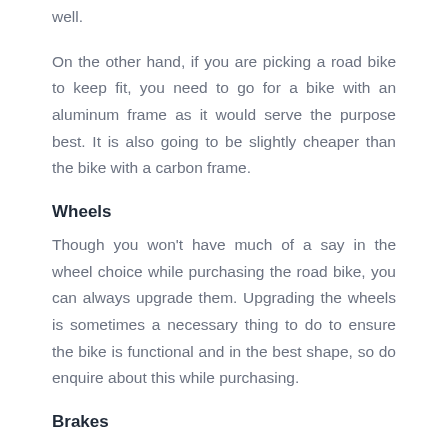well.
On the other hand, if you are picking a road bike to keep fit, you need to go for a bike with an aluminum frame as it would serve the purpose best. It is also going to be slightly cheaper than the bike with a carbon frame.
Wheels
Though you won't have much of a say in the wheel choice while purchasing the road bike, you can always upgrade them. Upgrading the wheels is sometimes a necessary thing to do to ensure the bike is functional and in the best shape, so do enquire about this while purchasing.
Brakes